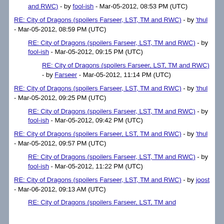and RWC) - by fool-ish - Mar-05-2012, 08:53 PM (UTC)
RE: City of Dragons (spoilers Farseer, LST, TM and RWC) - by 'thul - Mar-05-2012, 08:59 PM (UTC)
RE: City of Dragons (spoilers Farseer, LST, TM and RWC) - by fool-ish - Mar-05-2012, 09:15 PM (UTC)
RE: City of Dragons (spoilers Farseer, LST, TM and RWC) - by Farseer - Mar-05-2012, 11:14 PM (UTC)
RE: City of Dragons (spoilers Farseer, LST, TM and RWC) - by 'thul - Mar-05-2012, 09:25 PM (UTC)
RE: City of Dragons (spoilers Farseer, LST, TM and RWC) - by fool-ish - Mar-05-2012, 09:42 PM (UTC)
RE: City of Dragons (spoilers Farseer, LST, TM and RWC) - by 'thul - Mar-05-2012, 09:57 PM (UTC)
RE: City of Dragons (spoilers Farseer, LST, TM and RWC) - by fool-ish - Mar-05-2012, 11:22 PM (UTC)
RE: City of Dragons (spoilers Farseer, LST, TM and RWC) - by joost - Mar-06-2012, 09:13 AM (UTC)
RE: City of Dragons (spoilers Farseer, LST, TM and